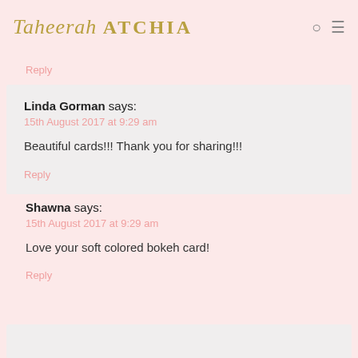Taheerah ATCHIA
Reply
Linda Gorman says:
15th August 2017 at 9:29 am

Beautiful cards!!! Thank you for sharing!!!

Reply
Shawna says:
15th August 2017 at 9:29 am

Love your soft colored bokeh card!

Reply